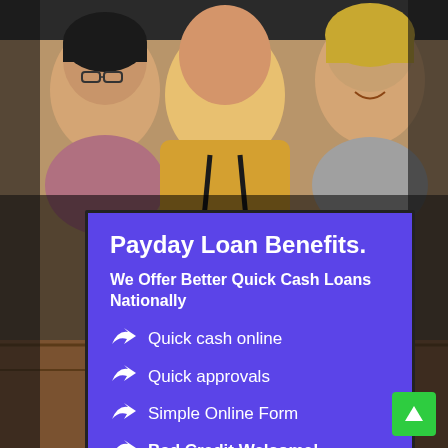[Figure (photo): Three young adults, two women and a man wearing a yellow hoodie, sitting together looking at something, photographed in a casual/cafe setting.]
Payday Loan Benefits.
We Offer Better Quick Cash Loans Nationally
Quick cash online
Quick approvals
Simple Online Form
Bad Credit Welcome!